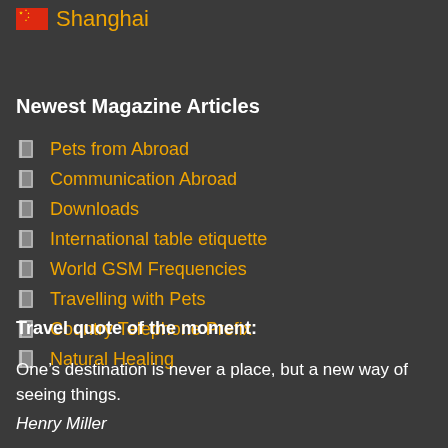Shanghai
Newest Magazine Articles
Pets from Abroad
Communication Abroad
Downloads
International table etiquette
World GSM Frequencies
Travelling with Pets
Country Telephone Prefix
Natural Healing
Travel quote of the moment:
One’s destination is never a place, but a new way of seeing things.
Henry Miller